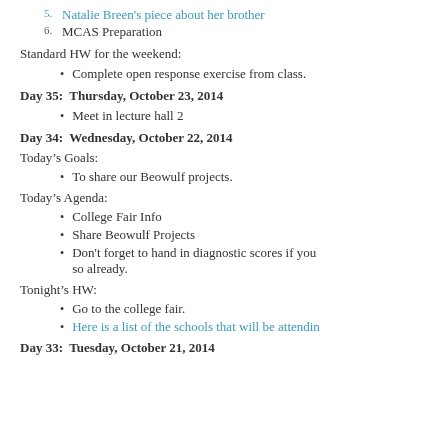5. Natalie Breen's piece about her brother
6. MCAS Preparation
Standard HW for the weekend:
Complete open response exercise from class.
Day 35:  Thursday, October 23, 2014
Meet in lecture hall 2
Day 34:  Wednesday, October 22, 2014
Today's Goals:
To share our Beowulf projects.
Today's Agenda:
College Fair Info
Share Beowulf Projects
Don't forget to hand in diagnostic scores if you so already.
Tonight's HW:
Go to the college fair.
Here is a list of the schools that will be attending
Day 33:  Tuesday, October 21, 2014